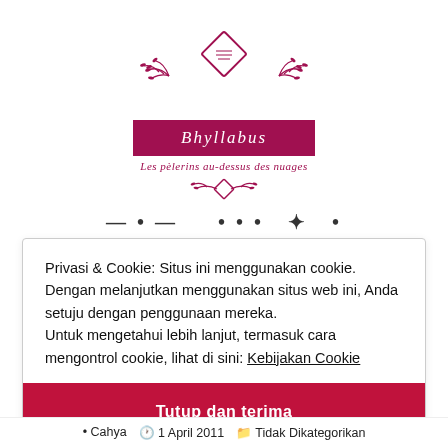[Figure (logo): Bhyllabus blog logo with decorative diamond, floral ornaments, crimson banner reading 'Bhyllabus', italic tagline 'Les pèlerins au-dessus des nuages', and bottom floral ornament]
Privasi & Cookie: Situs ini menggunakan cookie. Dengan melanjutkan menggunakan situs web ini, Anda setuju dengan penggunaan mereka.
Untuk mengetahui lebih lanjut, termasuk cara mengontrol cookie, lihat di sini: Kebijakan Cookie
Tutup dan terima
• Cahya   1 April 2011   Tidak Dikategorikan